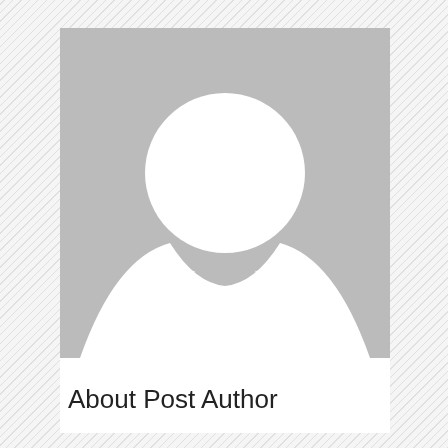[Figure (illustration): Generic placeholder avatar image: gray square background with white silhouette of a person (circle head and rounded shoulder/torso shape)]
About Post Author